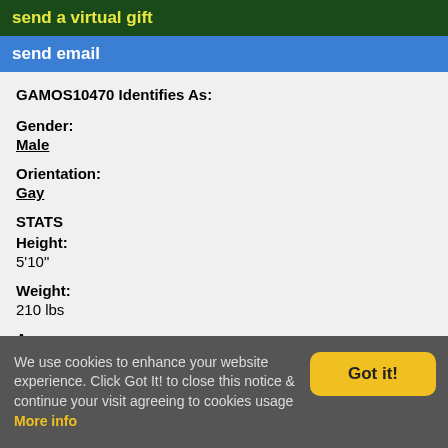send a virtual gift
send email
GAMOS10470 Identifies As:
Gender:
Male
Orientation:
Gay
STATS
Height:
5'10"
Weight:
210 lbs
Age:
52 years old.
LOCATION
Green Bay, WI, USA
We use cookies to enhance your website experience. Click Got It! to close this notice & continue your visit agreeing to cookies usage More info